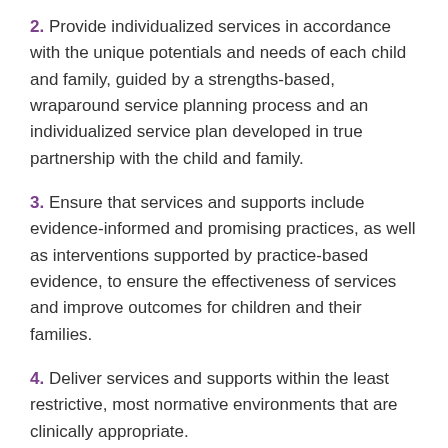2. Provide individualized services in accordance with the unique potentials and needs of each child and family, guided by a strengths-based, wraparound service planning process and an individualized service plan developed in true partnership with the child and family.
3. Ensure that services and supports include evidence-informed and promising practices, as well as interventions supported by practice-based evidence, to ensure the effectiveness of services and improve outcomes for children and their families.
4. Deliver services and supports within the least restrictive, most normative environments that are clinically appropriate.
5. Ensure that families, other caregivers, and youth are full partners in all aspects of the planning and delivery of their own services and in the policies and